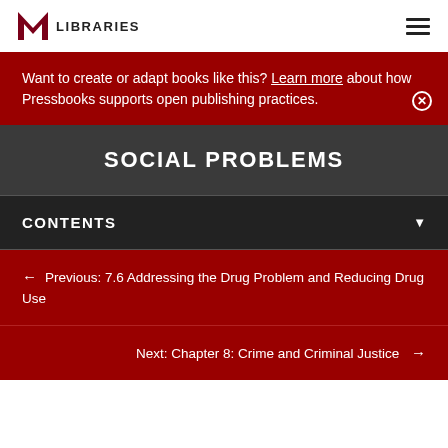M LIBRARIES
Want to create or adapt books like this? Learn more about how Pressbooks supports open publishing practices.
SOCIAL PROBLEMS
CONTENTS
Previous: 7.6 Addressing the Drug Problem and Reducing Drug Use
Next: Chapter 8: Crime and Criminal Justice